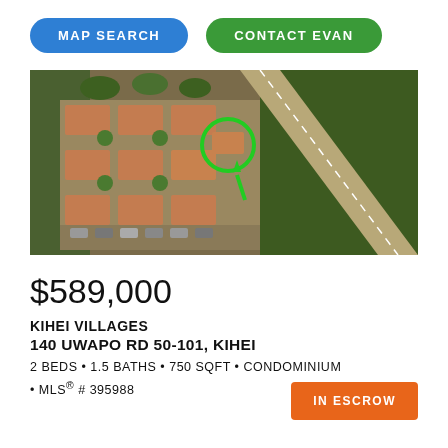MAP SEARCH   CONTACT EVAN
[Figure (photo): Aerial drone photograph of a residential condominium complex (Kihei Villages) with orange tiled roofs, surrounded by green trees, with a road running along the right side. A green circle highlights one specific unit with a green arrow pointing to it.]
$589,000
KIHEI VILLAGES
140 UWAPO RD 50-101, KIHEI
2 BEDS • 1.5 BATHS • 750 SQFT • CONDOMINIUM
• MLS® # 395988
IN ESCROW